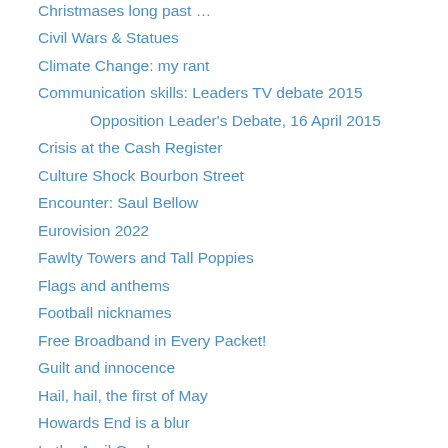Christmases long past …
Civil Wars & Statues
Climate Change: my rant
Communication skills: Leaders TV debate 2015
Opposition Leader's Debate, 16 April 2015
Crisis at the Cash Register
Culture Shock Bourbon Street
Encounter: Saul Bellow
Eurovision 2022
Fawlty Towers and Tall Poppies
Flags and anthems
Football nicknames
Free Broadband in Every Packet!
Guilt and innocence
Hail, hail, the first of May
Howards End is a blur
In the April Garden …
In The Days of Covid-21
In the May Garden
Jangle Bells: shopping for Christmas